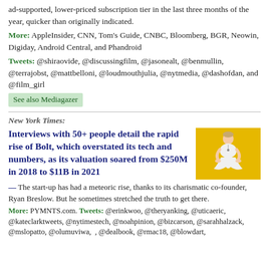ad-supported, lower-priced subscription tier in the last three months of the year, quicker than originally indicated.
More: AppleInsider, CNN, Tom's Guide, CNBC, Bloomberg, BGR, Neowin, Digiday, Android Central, and Phandroid
Tweets: @shiraovide, @discussingfilm, @jasonealt, @benmullin, @terrajobst, @mattbelloni, @loudmouthjulia, @nytmedia, @dashofdan, and @film_girl
See also Mediagazer
New York Times:
Interviews with 50+ people detail the rapid rise of Bolt, which overstated its tech and numbers, as its valuation soared from $250M in 2018 to $11B in 2021
[Figure (photo): Man in white clothing sitting in meditation pose on golden/yellow background]
— The start-up has had a meteoric rise, thanks to its charismatic co-founder, Ryan Breslow. But he sometimes stretched the truth to get there.
More: PYMNTS.com. Tweets: @erinkwoo, @theryanking, @uticaeric, @kateclarktweets, @nytimestech, @noahpinion, @bizcarson, @sarahhalzack, @mslopatto, @olumuviwa, , @dealbook, @rmac18, @blowdart,